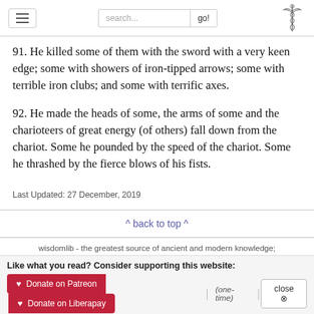[hamburger menu] [search...] [go!] [caduceus logo]
91. He killed some of them with the sword with a very keen edge; some with showers of iron-tipped arrows; some with terrible iron clubs; and some with terrific axes.
92. He made the heads of some, the arms of some and the charioteers of great energy (of others) fall down from the chariot. Some he pounded by the speed of the chariot. Some he thrashed by the fierce blows of his fists.
Last Updated: 27 December, 2019
^ back to top ^
wisdomlib - the greatest source of ancient and modern knowledge;
Like what you read? Consider supporting this website:
♥ Donate on Patreon  ♥ Donate on Liberapay  | (one-time) |  close ⊗
Why? Read more...